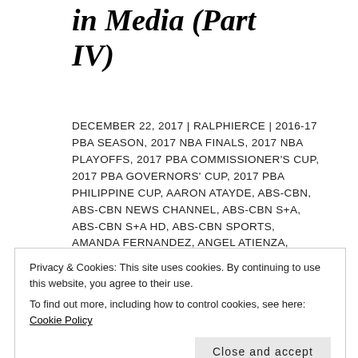in Media (Part IV)
DECEMBER 22, 2017 | RALPHIERCE | 2016-17 PBA SEASON, 2017 NBA FINALS, 2017 NBA PLAYOFFS, 2017 PBA COMMISSIONER'S CUP, 2017 PBA GOVERNORS' CUP, 2017 PBA PHILIPPINE CUP, AARON ATAYDE, ABS-CBN, ABS-CBN NEWS CHANNEL, ABS-CBN S+A, ABS-CBN S+A HD, ABS-CBN SPORTS, AMANDA FERNANDEZ, ANGEL ATIENZA, ASEAN BASKETBALL LEAGUE, ASEAN BASKETBALL LEAGUE ON ABS-CBN SPORTS, BARANGAY GINEBRA SAN MIGUEL,
Privacy & Cookies: This site uses cookies. By continuing to use this website, you agree to their use.
To find out more, including how to control cookies, see here: Cookie Policy
Close and accept
CANCEL WWE PROGRAMS, FOX